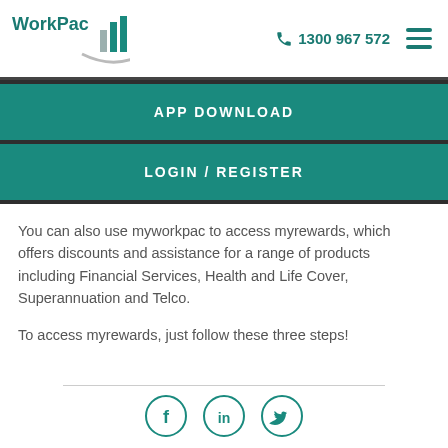[Figure (logo): WorkPac logo with teal and grey bar chart building icon and swoosh]
1300 967 572
APP DOWNLOAD
LOGIN / REGISTER
You can also use myworkpac to access myrewards, which offers discounts and assistance for a range of products including Financial Services, Health and Life Cover, Superannuation and Telco.
To access myrewards, just follow these three steps!
[Figure (illustration): Social media icons: Facebook (f), LinkedIn (in), Twitter (bird) — circular teal outlines at bottom of page]